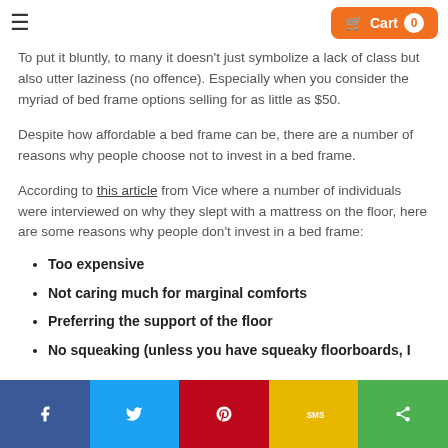Cart 0
To put it bluntly, to many it doesn't just symbolize a lack of class but also utter laziness (no offence). Especially when you consider the myriad of bed frame options selling for as little as $50.
Despite how affordable a bed frame can be, there are a number of reasons why people choose not to invest in a bed frame.
According to this article from Vice where a number of individuals were interviewed on why they slept with a mattress on the floor, here are some reasons why people don't invest in a bed frame:
Too expensive
Not caring much for marginal comforts
Preferring the support of the floor
No squeaking (unless you have squeaky floorboards, I
Facebook Twitter Pinterest SMS Share